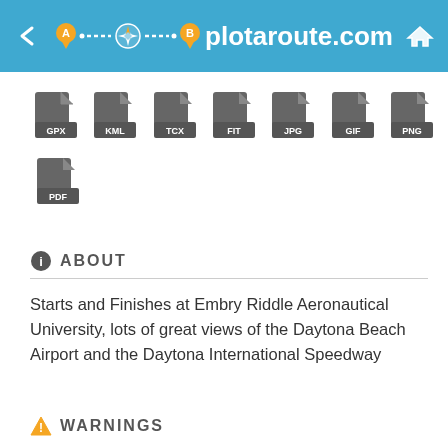plotaroute.com
[Figure (infographic): File format icons: GPX, KML, TCX, FIT, JPG, GIF, PNG, PDF]
ABOUT
Starts and Finishes at Embry Riddle Aeronautical University, lots of great views of the Daytona Beach Airport and the Daytona International Speedway
WARNINGS